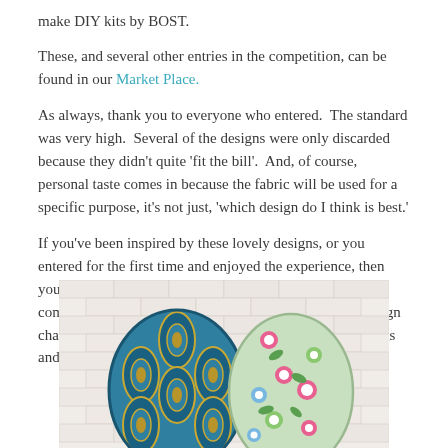make DIY kits by BOST.
These, and several other entries in the competition, can be found in our Market Place.
As always, thank you to everyone who entered.  The standard was very high.  Several of the designs were only discarded because they didn't quite 'fit the bill'.  And, of course, personal taste comes in because the fabric will be used for a specific purpose, it's not just, 'which design do I think is best.'
If you've been inspired by these lovely designs, or you entered for the first time and enjoyed the experience, then you might like to have a go again.  There'll be another competition in April, but, in the meantime, we have a design challenge starting on February 9th, when the theme is Dogs and Cats.
[Figure (photo): Two fabric tea cosies hanging against a white brick wall — one with a teal/blue and gold paisley/peacock feather pattern, another with a green and pink floral pattern.]